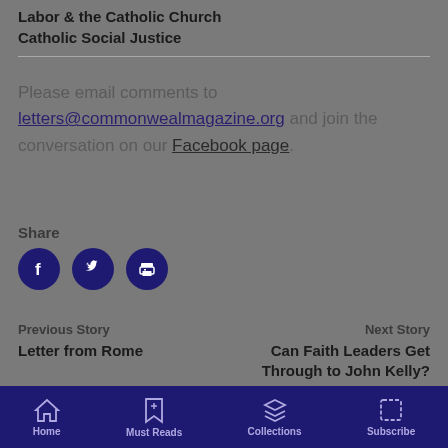Labor & the Catholic Church
Catholic Social Justice
Please email comments to letters@commonwealmagazine.org and join the conversation on our Facebook page.
Share
[Figure (infographic): Three circular social share icons: Facebook (f), Twitter (bird), and Print (printer icon), all dark navy blue circles with white icons]
Previous Story
Letter from Rome
Next Story
Can Faith Leaders Get Through to John Kelly?
Home | Must Reads | Collections | Subscribe